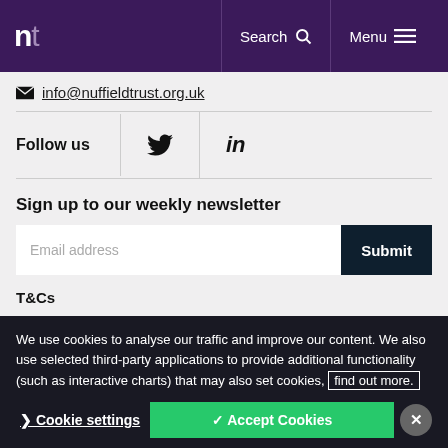nt | Search | Menu
info@nuffieldtrust.org.uk
Follow us
Sign up to our weekly newsletter
Email address — Submit
T&Cs
We use cookies to analyse our traffic and improve our content. We also use selected third-party applications to provide additional functionality (such as interactive charts) that may also set cookies, find out more.
Cookie settings | ✓ Accept Cookies | ✕